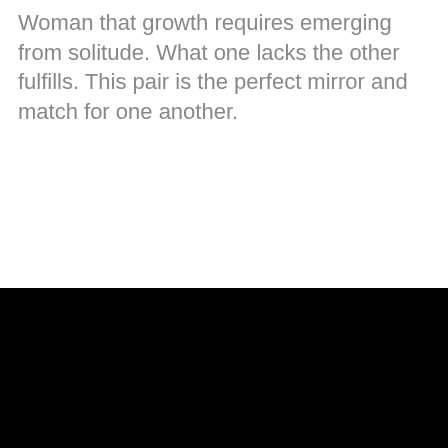Woman that growth requires emerging from solitude. What one lacks the other fulfills. This pair is the perfect mirror and match for one another.
[Figure (illustration): A circled X (close/dismiss) icon rendered in outline style]
[Figure (other): Solid black rectangular bar filling the bottom portion of the page]